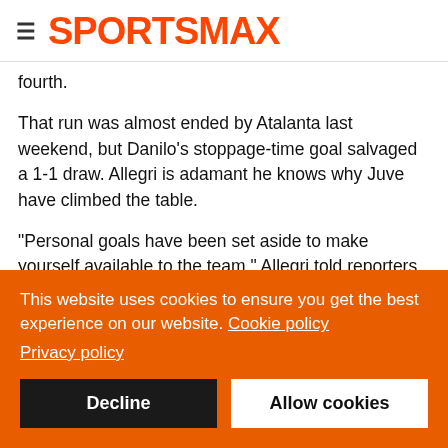SPORTSMAX
fourth.
That run was almost ended by Atalanta last weekend, but Danilo's stoppage-time goal salvaged a 1-1 draw. Allegri is adamant he knows why Juve have climbed the table.
"Personal goals have been set aside to make yourself available to the team," Allegri told reporters of his players.
"We have been together for six or seven months now, we know each other better. Now they know my language better, too. We
This website uses cookies to ensure you get the best experience on our website. Cookie policy
Privacy policy
Decline
Allow cookies